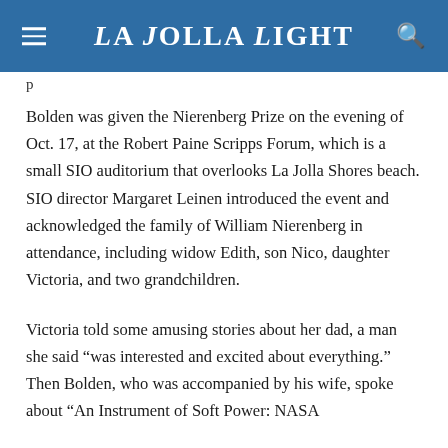La Jolla Light
Bolden was given the Nierenberg Prize on the evening of Oct. 17, at the Robert Paine Scripps Forum, which is a small SIO auditorium that overlooks La Jolla Shores beach. SIO director Margaret Leinen introduced the event and acknowledged the family of William Nierenberg in attendance, including widow Edith, son Nico, daughter Victoria, and two grandchildren.
Victoria told some amusing stories about her dad, a man she said “was interested and excited about everything.” Then Bolden, who was accompanied by his wife, spoke about “An Instrument of Soft Power: NASA